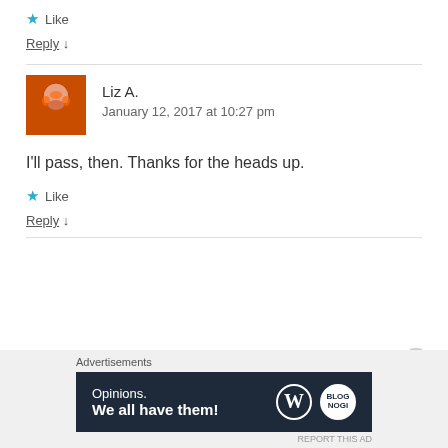★ Like
Reply ↓
[Figure (photo): Avatar photo of Liz A., a person with orange face paint]
Liz A.
January 12, 2017 at 10:27 pm
I'll pass, then. Thanks for the heads up.
★ Like
Reply ↓
[Figure (infographic): Advertisement banner: 'Opinions. We all have them!' with WordPress logo and brand logo on dark navy background]
Advertisements